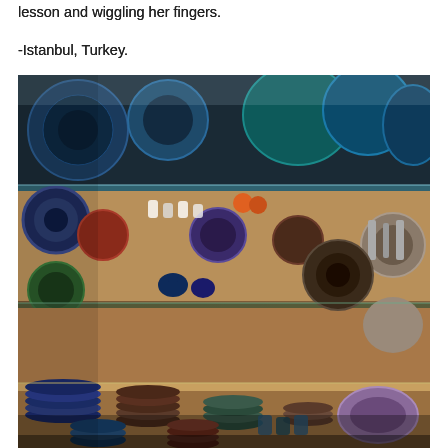lesson and wiggling her fingers.
-Istanbul, Turkey.
[Figure (photo): A colorful shop interior in Istanbul, Turkey, filled with decorative ceramic plates, bowls, and pottery stacked on shelves and hanging on walls. The shelves display intricate blue and multicolored Turkish ceramics, small figurines, and various ornamental items arranged densely throughout the shop.]